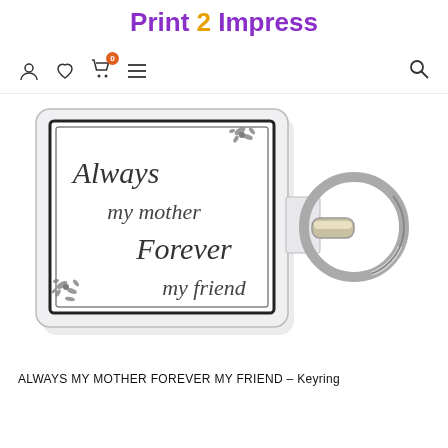Print 2 Impress
[Figure (screenshot): Website navigation bar with user account icon, heart/wishlist icon, shopping cart icon with badge '0', hamburger menu icon, and search icon on the right]
[Figure (photo): A keyring product showing a rectangular acrylic keychain with text 'Always my mother Forever my friend' in script and serif fonts, with decorative floral corner ornaments and a metal key ring attached]
ALWAYS MY MOTHER FOREVER MY FRIEND – Keyring